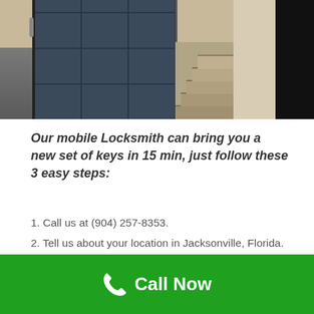[Figure (photo): Interior photo showing tiled dark door/wall on the left, concrete stairs in the center background, and a white/dark wall on the right. A door handle is visible on the far left edge.]
Our mobile Locksmith can bring you a new set of keys in 15 min, just follow these 3 easy steps:
1. Call us at (904) 257-8353.
2. Tell us about your location in Jacksonville, Florida.
3. Tell us your car brand, year & model
We're on our way.....
Call Now